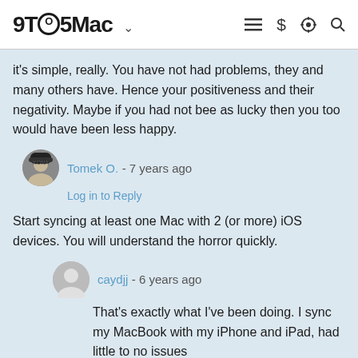9TO5Mac
it's simple, really. You have not had problems, they and many others have. Hence your positiveness and their negativity. Maybe if you had not bee as lucky then you too would have been less happy.
Tomek O. - 7 years ago
Log in to Reply
Start syncing at least one Mac with 2 (or more) iOS devices. You will understand the horror quickly.
caydjj - 6 years ago
That's exactly what I've been doing. I sync my MacBook with my iPhone and iPad, had little to no issues